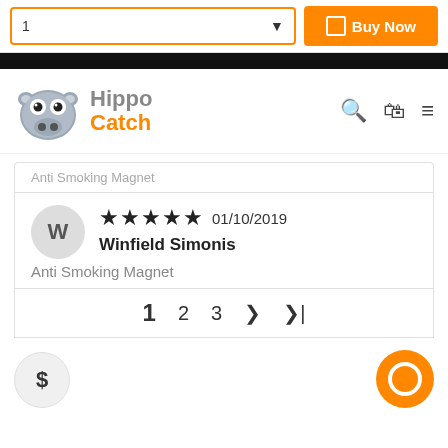[Figure (screenshot): E-commerce product page screenshot from HippoCatch showing a quantity selector, Buy Now button, site navigation with logo, a 5-star product review by Winfield Simonis dated 01/10/2019 for Anti Smoking Magnet, pagination controls, and a chat button.]
1
Buy Now
[Figure (logo): HippoCatch logo with cartoon hippo face and orange/grey text]
Anti Smoking Magnet
★★★★★ 01/10/2019
Winfield Simonis
Anti Smoking Magnet
1  2  3  >  >|